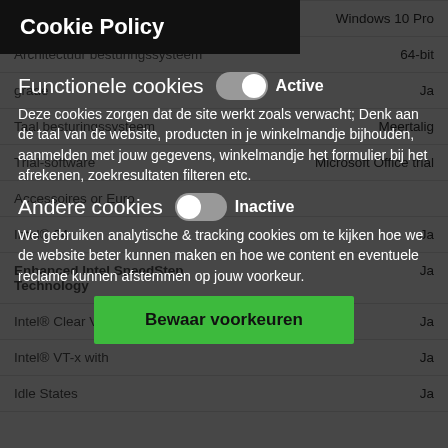| Eigenschap | Waarde |
| --- | --- |
| Inclusief besturingssysteem | Windows 10 Pro |
| Architectuur besturingssysteem | 64-bit |
| ...grade | Ja |
| Taal besturingssysteem | Meertalig |
| Trial-software | Microsoft Office trial |
| ...selectie or Euro | ... |
| Intel® 64 | Ja |
| Enhanced Intel SpeedStep Technology | Ja |
| Intel® Clear Video-technologie | Ja |
| Intel® VT-x with... | Ja |
| Idle States | Ja |
Cookie Policy
Functionele cookies
Active
Deze cookies zorgen dat de site werkt zoals verwacht; Denk aan de taal van de website, producten in je winkelmandje bijhouden, aanmelden met jouw gegevens, winkelmandje het formulier bij het afrekenen, zoekresultaten filteren etc.
Andere cookies
Inactive
We gebruiken analytische & tracking cookies om te kijken hoe we de website beter kunnen maken en hoe we content en eventuele reclame kunnen afstemmen op jouw voorkeur.
Bewaar voorkeuren